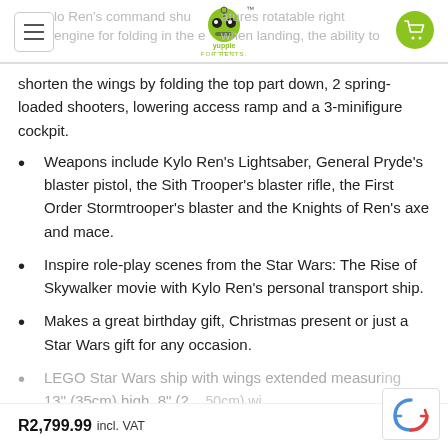Yuppie Gadgets (logo)
shorten the wings by folding the top part down, 2 spring-loaded shooters, lowering access ramp and a 3-minifigure cockpit.
Weapons include Kylo Ren’s Lightsaber, General Pryde’s blaster pistol, the Sith Trooper’s blaster rifle, the First Order Stormtrooper’s blaster and the Knights of Ren’s axe and mace.
Inspire role-play scenes from the Star Wars: The Rise of Skywalker movie with Kylo Ren’s personal transport ship.
Makes a great birthday gift, Christmas present or just a Star Wars gift for any occasion.
LEGO Star Wars ship with wings extended measures 13” (35cm) high, 8” (2... 50cm) wi...
R2,799.99 incl. VAT